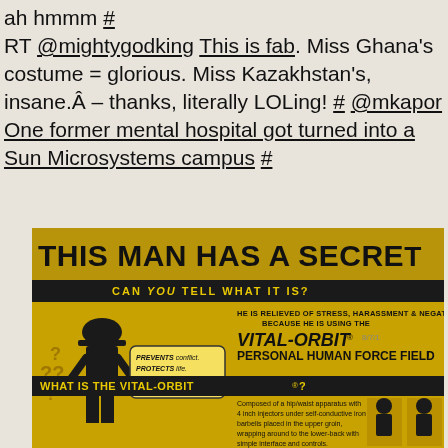ah hmmm # RT @mightygodking This is fab. Miss Ghana's costume = glorious. Miss Kazakhstan's, insane.Â – thanks, literally LOLing! # @mkapor One former mental hospital got turned into a Sun Microsystems campus #
[Figure (photo): Photo of a product advertisement/poster with gold background featuring a silhouette of a man in a hat and suit with question marks. Text reads 'THIS MAN HAS A SECRET - CAN YOU TELL WHAT IT IS? HE IS RELIEVED OF STRESS, HARASSMENT & NEGATIVITY BECAUSE HE IS USING THE VITAL-ORBIT PERSONAL HUMAN FORCE FIELD! WHAT IS THE VITAL-ORBIT? Composed of a hip/waist apparatus with 4 inch injectors under self-conductive iron barbelis placed in the upper groin, wrapping around to the lower-back with simple interface and controls.']